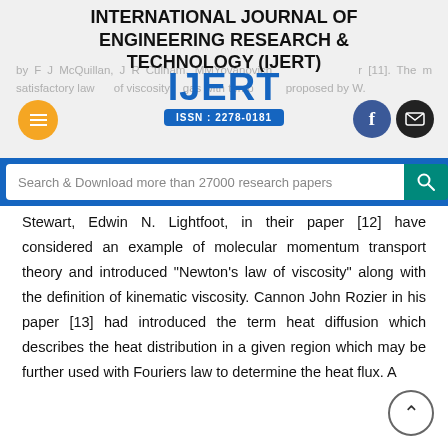INTERNATIONAL JOURNAL OF ENGINEERING RESEARCH & TECHNOLOGY (IJERT)
[Figure (logo): IJERT logo with ISSN: 2278-0181 in blue, with orange menu button and social media icons]
Search & Download more than 27000 research papers
Stewart, Edwin N. Lightfoot, in their paper [12] have considered an example of molecular momentum transport theory and introduced "Newton's law of viscosity" along with the definition of kinematic viscosity. Cannon John Rozier in his paper [13] had introduced the term heat diffusion which describes the heat distribution in a given region which may be further used with Fouriers law to determine the heat flux. A